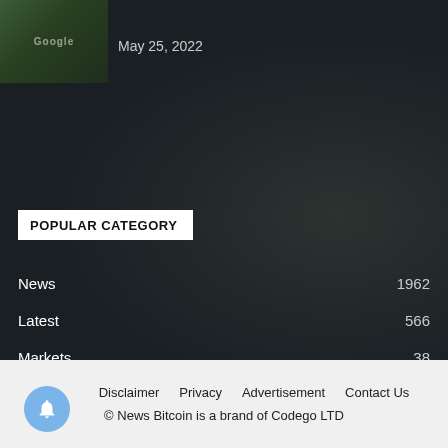[Figure (photo): Small thumbnail photo of a building (Google campus area) with greenery]
May 25, 2022
POPULAR CATEGORY
News  1962
Latest  566
Markets  38
Exchange  11
Sponsored  6
press-release  0
Disclaimer   Privacy   Advertisement   Contact Us
© News Bitcoin is a brand of Codego LTD